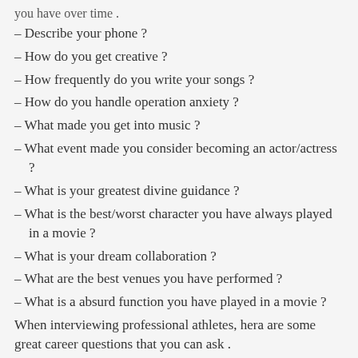– Describe your phone ?
– How do you get creative ?
– How frequently do you write your songs ?
– How do you handle operation anxiety ?
– What made you get into music ?
– What event made you consider becoming an actor/actress ?
– What is your greatest divine guidance ?
– What is the best/worst character you have always played in a movie ?
– What is your dream collaboration ?
– What are the best venues you have performed ?
– What is a absurd function you have played in a movie ?
When interviewing professional athletes, hera are some great career questions that you can ask .
– Do you have rituals you carry out before any game ?
– How do you handle when your team is experiencing